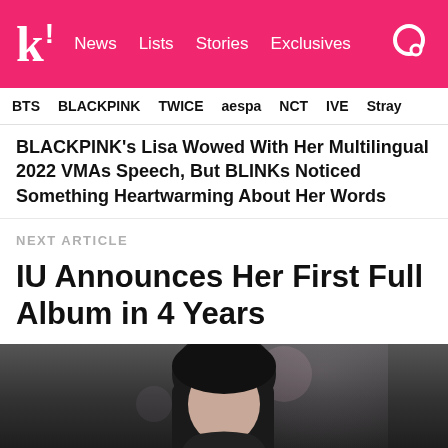k! News Lists Stories Exclusives
BTS BLACKPINK TWICE aespa NCT IVE Stray
BLACKPINK's Lisa Wowed With Her Multilingual 2022 VMAs Speech, But BLINKs Noticed Something Heartwarming About Her Words
NEXT ARTICLE
IU Announces Her First Full Album in 4 Years
[Figure (photo): Photo of a person with dark hair, blurred background with bokeh lights]